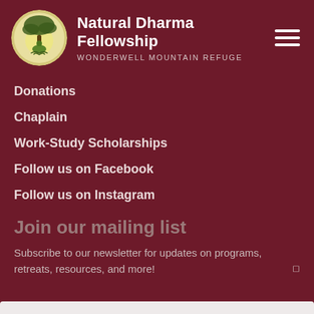Natural Dharma Fellowship | WONDERWELL MOUNTAIN REFUGE
Donations
Chaplain
Work-Study Scholarships
Follow us on Facebook
Follow us on Instagram
Join our mailing list
Subscribe to our newsletter for updates on programs, retreats, resources, and more!